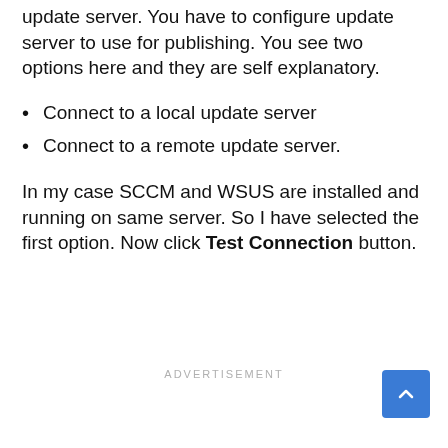update server. You have to configure update server to use for publishing. You see two options here and they are self explanatory.
Connect to a local update server
Connect to a remote update server.
In my case SCCM and WSUS are installed and running on same server. So I have selected the first option. Now click Test Connection button.
ADVERTISEMENT